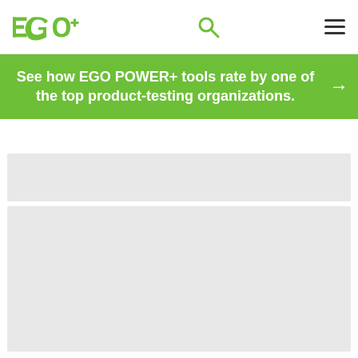EGO — Navigation bar with logo, search icon, and hamburger menu
See how EGO POWER+ tools rate by one of the top product-testing organizations.
[Figure (other): Grey placeholder image area 1]
[Figure (other): Grey placeholder image area 2]